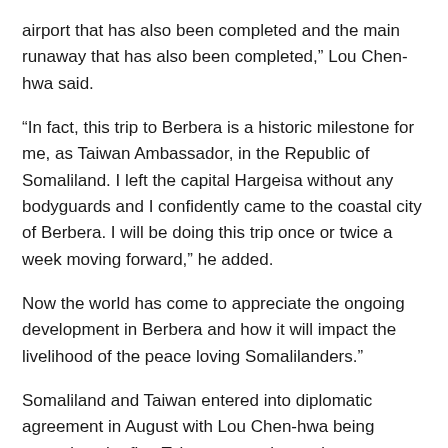airport that has also been completed and the main runaway that has also been completed,” Lou Chen-hwa said.
“In fact, this trip to Berbera is a historic milestone for me, as Taiwan Ambassador, in the Republic of Somaliland. I left the capital Hargeisa without any bodyguards and I confidently came to the coastal city of Berbera. I will be doing this trip once or twice a week moving forward,” he added.
Now the world has come to appreciate the ongoing development in Berbera and how it will impact the livelihood of the peace loving Somalilanders.
Somaliland and Taiwan entered into diplomatic agreement in August with Lou Chen-hwa being named as the first Taiwanese ambassador to Somaliland.